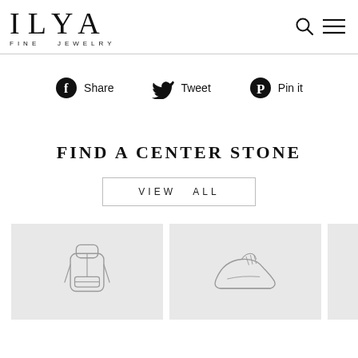ILYA FINE JEWELRY
Share  Tweet  Pin it
FIND A CENTER STONE
VIEW ALL
[Figure (illustration): Product thumbnail images in light gray cards showing line-art illustrations of a backpack, a sneaker, and partial third item]
[Figure (illustration): Line drawing of a backpack on gray background]
[Figure (illustration): Line drawing of a sneaker on gray background]